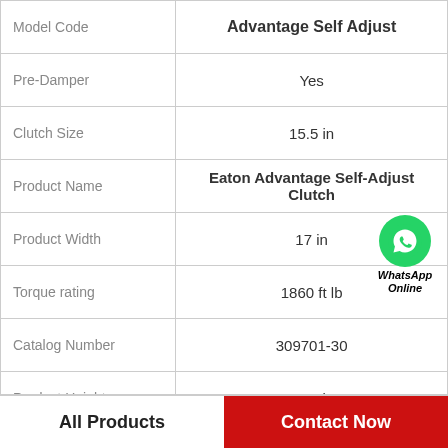| Property | Value |
| --- | --- |
| Model Code | Advantage Self Adjust |
| Pre-Damper | Yes |
| Clutch Size | 15.5 in |
| Product Name | Eaton Advantage Self-Adjust Clutch |
| Product Width | 17 in |
| Torque rating | 1860 ft lb |
| Catalog Number | 309701-30 |
| Product Height | 7.25 in |
[Figure (logo): WhatsApp Online badge with green circle phone icon and italic bold text 'WhatsApp Online']
All Products
Contact Now